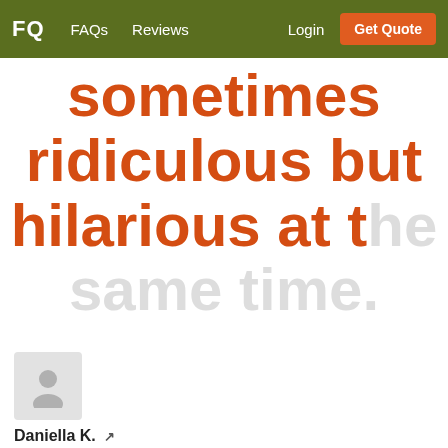FQ  FAQs  Reviews  Login  Get Quote
sometimes ridiculous but hilarious at the same time.
[Figure (photo): Generic user avatar placeholder icon (grey silhouette of a person on light grey background)]
Daniella K. [external link icon]
4/28/2019
[Figure (other): Five red star rating icons]
Our bachelorette group had an absolute blast on our two hour hunt. I wish our coordinator had scheduled us for more time as we hadn't